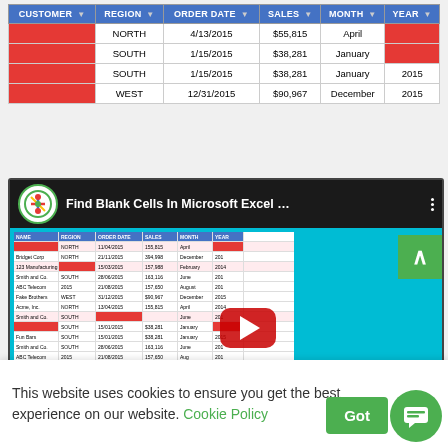| CUSTOMER | REGION | ORDER DATE | SALES | MONTH | YEAR |
| --- | --- | --- | --- | --- | --- |
| [red] | NORTH | 4/13/2015 | $55,815 | April | [red] |
| [red] | SOUTH | 1/15/2015 | $38,281 | January | [red] |
| [red] | SOUTH | 1/15/2015 | $38,281 | January | 2015 |
| [red] | WEST | 12/31/2015 | $90,967 | December | 2015 |
[Figure (screenshot): YouTube video thumbnail for 'Find Blank Cells In Microsoft Excel ...' showing a spreadsheet with highlighted red cells in an Excel table on a teal/cyan background, with a red YouTube play button overlay.]
This website uses cookies to ensure you get the best experience on our website. Cookie Policy